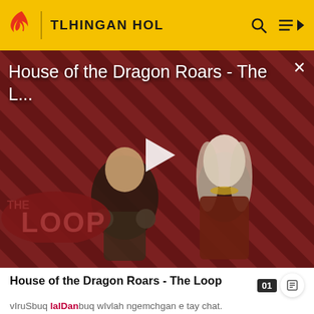TLHINGAN HOL
[Figure (screenshot): Video thumbnail showing two characters from House of the Dragon on a red/black diagonal stripe background with THE LOOP watermark and a play button in the center. Title overlay reads 'House of the Dragon Roars - The L...']
House of the Dragon Roars - The Loop
vIruSbuq lalDanbuq wIvlah ngemchgan e tay chat.
Christus lalDan tay' 54% nganmey; pagh Har 31%; latlh Har 11%; Mohammed lalDan tay' 4%.